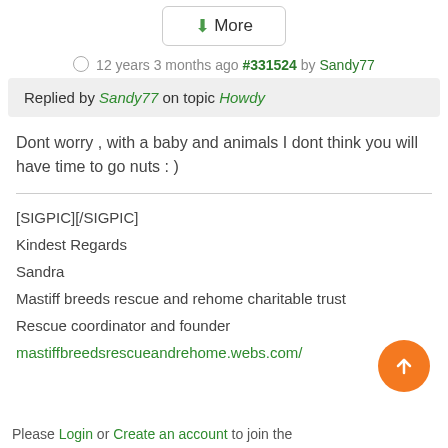[Figure (other): More button with green down arrow]
12 years 3 months ago #331524 by Sandy77
Replied by Sandy77 on topic Howdy
Dont worry , with a baby and animals I dont think you will have time to go nuts : )
[SIGPIC][/SIGPIC]
Kindest Regards
Sandra
Mastiff breeds rescue and rehome charitable trust
Rescue coordinator and founder
mastiffbreedsrescueandrehome.webs.com/
[Figure (other): Orange circular up arrow button]
Please Login or Create an account to join the